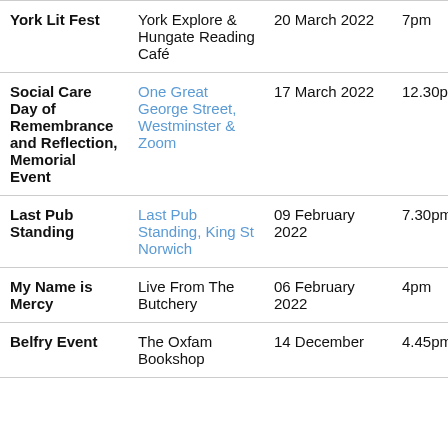| Event | Venue | Date | Time |
| --- | --- | --- | --- |
| York Lit Fest | York Explore & Hungate Reading Café | 20 March 2022 | 7pm |
| Social Care Day of Remembrance and Reflection, Memorial Event | One Great George Street, Westminster & Zoom | 17 March 2022 | 12.30pm |
| Last Pub Standing | Last Pub Standing, King St Norwich | 09 February 2022 | 7.30pm tbc |
| My Name is Mercy | Live From The Butchery | 06 February 2022 | 4pm |
| Belfry Event | The Oxfam Bookshop... | 14 December... | 4.45pm |